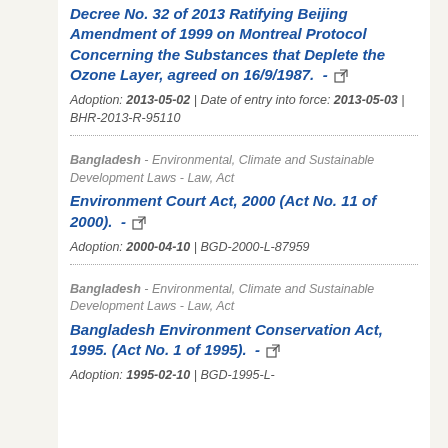Decree No. 32 of 2013 Ratifying Beijing Amendment of 1999 on Montreal Protocol Concerning the Substances that Deplete the Ozone Layer, agreed on 16/9/1987. - [link] Adoption: 2013-05-02 | Date of entry into force: 2013-05-03 | BHR-2013-R-95110
Bangladesh - Environmental, Climate and Sustainable Development Laws - Law, Act | Environment Court Act, 2000 (Act No. 11 of 2000). - [link] | Adoption: 2000-04-10 | BGD-2000-L-87959
Bangladesh - Environmental, Climate and Sustainable Development Laws - Law, Act | Bangladesh Environment Conservation Act, 1995. (Act No. 1 of 1995). - [link] | Adoption: 1995-02-10 | BGD-1995-L-